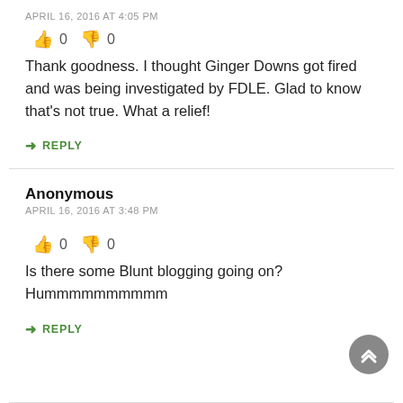APRIL 16, 2016 AT 4:05 PM
👍 0  👎 0
Thank goodness. I thought Ginger Downs got fired and was being investigated by FDLE. Glad to know that's not true. What a relief!
↪ REPLY
Anonymous
APRIL 16, 2016 AT 3:48 PM
👍 0  👎 0
Is there some Blunt blogging going on? Hummmmmmmmmm
↪ REPLY